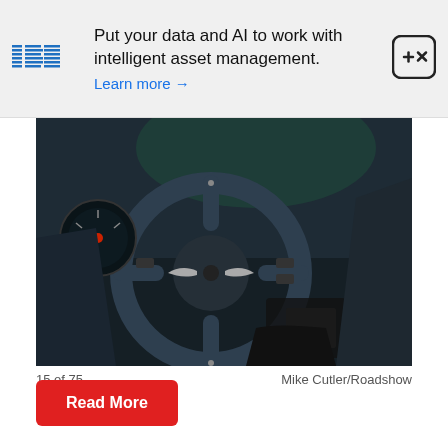[Figure (other): IBM advertisement banner: IBM logo on left, text 'Put your data and AI to work with intelligent asset management. Learn more →', close button (circle with + and x) on right]
[Figure (photo): Interior of an Aston Martin car showing the steering wheel with Aston Martin winged logo, dashboard with gauges, carbon fiber trim, dark leather interior]
15 of 75    Mike Cutler/Roadshow
Read More